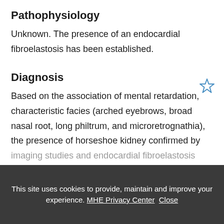Pathophysiology
Unknown. The presence of an endocardial fibroelastosis has been established.
Diagnosis
Based on the association of mental retardation, characteristic facies (arched eyebrows, broad nasal root, long philtrum, and microretrognathia), the presence of horseshoe kidney confirmed by imaging studies and endocardial fibroelastosis
This site uses cookies to provide, maintain and improve your experience. MHE Privacy Center  Close